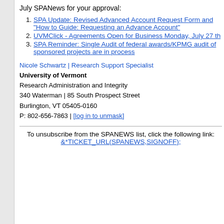July SPANews for your approval:
SPA Update: Revised Advanced Account Request Form and "How to Guide: Requesting an Advance Account"
UVMClick - Agreements Open for Business Monday, July 27 th
SPA Reminder: Single Audit of federal awards/KPMG audit of sponsored projects are in process
Nicole Schwartz | Research Support Specialist
University of Vermont
Research Administration and Integrity
340 Waterman | 85 South Prospect Street
Burlington, VT 05405-0160
P: 802-656-7863 | [log in to unmask]
To unsubscribe from the SPANEWS list, click the following link: &*TICKET_URL(SPANEWS,SIGNOFF);